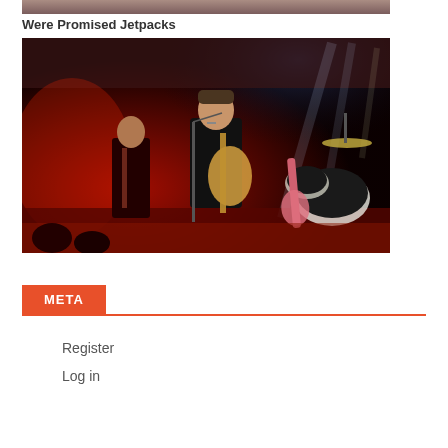[Figure (photo): Top strip of a partially visible photo at the very top of the page]
Were Promised Jetpacks
[Figure (photo): Concert photo of Were Promised Jetpacks band performing on stage with red and blue stage lighting. A guitarist in a black t-shirt sings at a microphone while playing guitar. Another guitarist is visible in the background. Drums and more band equipment visible on the right side of the stage.]
META
Register
Log in